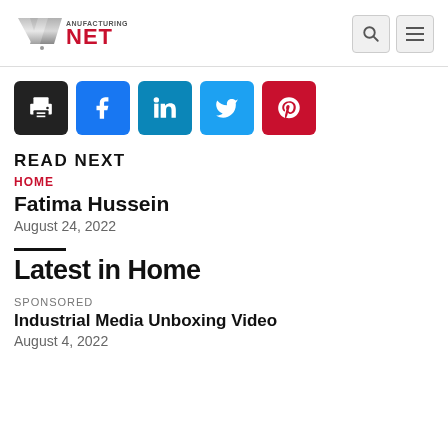Manufacturing.net
[Figure (logo): Manufacturing.NET logo with stylized M and red NET text]
[Figure (infographic): Social sharing buttons: print (black), Facebook (blue), LinkedIn (teal), Twitter (light blue), Pinterest (red)]
READ NEXT
HOME
Fatima Hussein
August 24, 2022
Latest in Home
SPONSORED
Industrial Media Unboxing Video
August 4, 2022